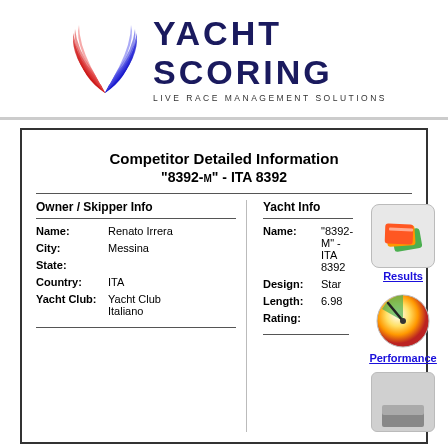[Figure (logo): YachtScoring logo with red and blue wave/feather graphic and text YACHT SCORING LIVE RACE MANAGEMENT SOLUTIONS]
Competitor Detailed Information
"8392-M" - ITA 8392
| Owner / Skipper Info | Yacht Info |
| --- | --- |
| Name: Renato Irrera | Name: "8392-M" - ITA 8392 |
| City: Messina | Design: Star |
| State: | Length: 6.98 |
| Country: ITA | Rating: |
| Yacht Club: Yacht Club Italiano |  |
[Figure (illustration): 3D icon of overlapping credit/score cards in orange and green, Results link button]
Results
[Figure (illustration): 3D sphere gauge icon with needle, Performance link button]
Performance
[Figure (illustration): Gray icon box with dark gray rectangle, third action button]